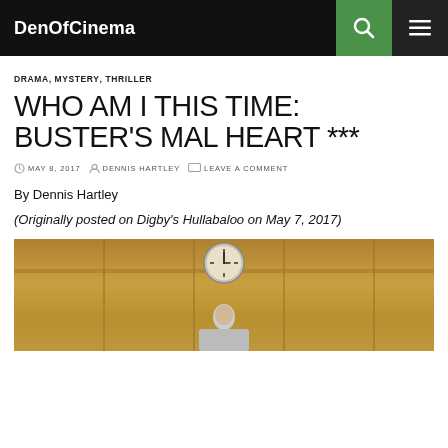DenOfCinema
DRAMA, MYSTERY, THRILLER
WHO AM I THIS TIME: BUSTER'S MAL HEART ***
MAY 8, 2017  DENNIS HARTLEY  LEAVE A COMMENT
By Dennis Hartley
(Originally posted on Digby's Hullabaloo on May 7, 2017)
[Figure (photo): A scene from the film showing a person below a clock on a wood-paneled wall]